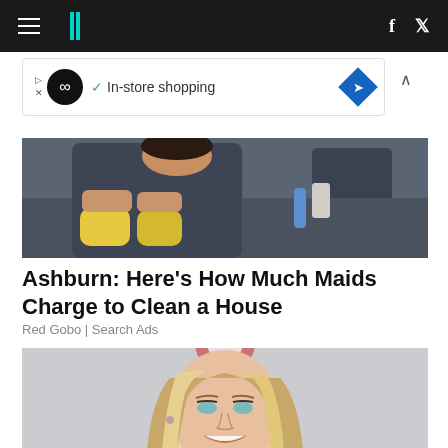HuffPost navigation with hamburger menu, logo, facebook and twitter icons
[Figure (screenshot): Advertisement banner: circular black logo with infinity symbol, checkmark, 'In-store shopping' text, blue diamond with arrow icon]
[Figure (photo): Photo of person wearing dark clothes with yellow rubber gloves, arms crossed, kitchen background]
Ashburn: Here's How Much Maids Charge to Clean a House
Red Gobo | Search Ads
[Figure (photo): Photo of a smiling woman with long blonde highlighted hair, green eyes, at what appears to be a red carpet event]